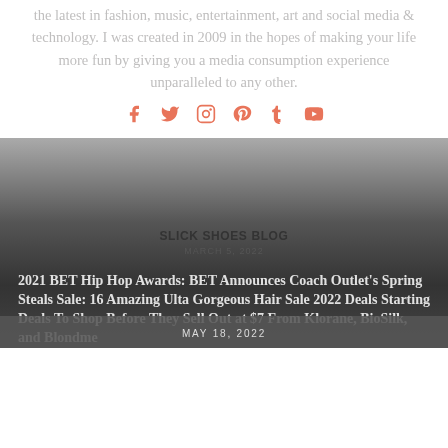the latest in fashion, music, entertainment, art and social media & technology. I was created in 2009 in the hopes of making your life more fun by giving you a media consumption experience unparalleled to any other.
[Figure (infographic): Social media icons row: Facebook, Twitter, Instagram, Pinterest, Tumblr, YouTube — all in coral/salmon color]
[Figure (photo): Dark gradient image card with overlapping article titles. Main title: '2021 BET Hip Hop Awards: BET Announces Coach Outlet's Spring Steals Sale: 16 Amazing Ulta Gorgeous Hair Sale 2022 Deals Starting Deals To Shop Before They Sell Out at $7 From Klorane, BioSilk, and Blondme'. Middle overlay title and date: MARCH 5, 2022. Bottom bar date: MAY 18, 2022.]